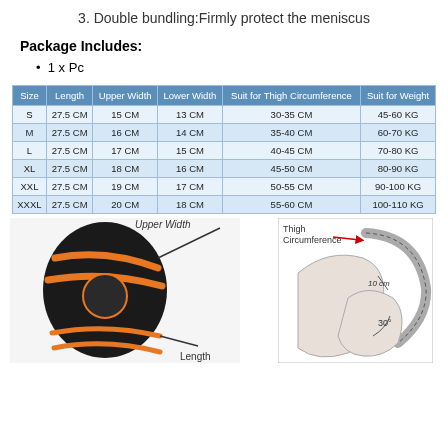3. Double bundling:Firmly protect the meniscus
Package Includes:
1 x Pc
| Size | Length | Upper Width | Lower Width | Suit for Thigh Circumference | Suit for Weight |
| --- | --- | --- | --- | --- | --- |
| S | 27.5 CM | 15 CM | 13 CM | 30-35 CM | 45-60 KG |
| M | 27.5 CM | 16 CM | 14 CM | 35-40 CM | 60-70 KG |
| L | 27.5 CM | 17 CM | 15 CM | 40-45 CM | 70-80 KG |
| XL | 27.5 CM | 18 CM | 16 CM | 45-50 CM | 80-90 KG |
| XXL | 27.5 CM | 19 CM | 17 CM | 50-55 CM | 90-100 KG |
| XXXL | 27.5 CM | 20 CM | 18 CM | 55-60 CM | 100-110 KG |
[Figure (photo): Knee brace/sleeve product photo with black and orange design, showing Upper Width and Length measurement annotations]
[Figure (illustration): Diagram showing how to measure Thigh Circumference with a measuring tape at 30 degrees, labeled with 10 cm and 30 degree angle]